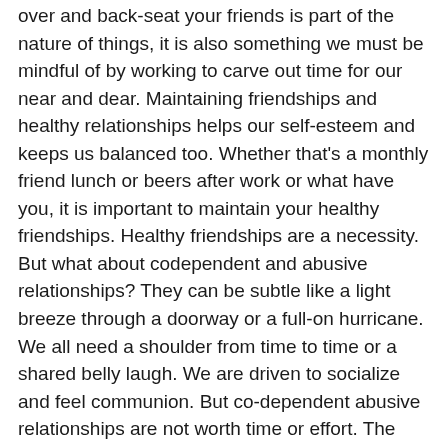over and back-seat your friends is part of the nature of things, it is also something we must be mindful of by working to carve out time for our near and dear. Maintaining friendships and healthy relationships helps our self-esteem and keeps us balanced too. Whether that's a monthly friend lunch or beers after work or what have you, it is important to maintain your healthy friendships. Healthy friendships are a necessity. But what about codependent and abusive relationships? They can be subtle like a light breeze through a doorway or a full-on hurricane. We all need a shoulder from time to time or a shared belly laugh. We are driven to socialize and feel communion. But co-dependent abusive relationships are not worth time or effort. The best way to spot them is by asking yourself how you feel after an exchange with the individual. Are they so wrapped up in themselves they forget plans with you or never bother to ask how you are doing because it's all about them?
My mother came from an abusive background and it turns out